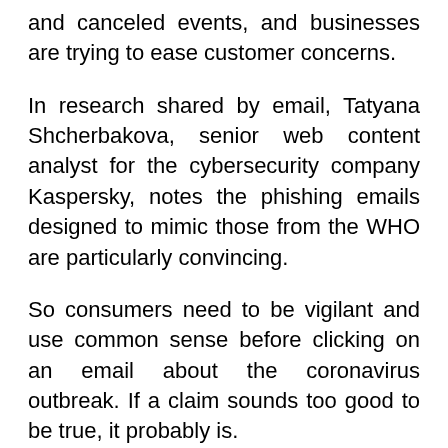and canceled events, and businesses are trying to ease customer concerns.
In research shared by email, Tatyana Shcherbakova, senior web content analyst for the cybersecurity company Kaspersky, notes the phishing emails designed to mimic those from the WHO are particularly convincing.
So consumers need to be vigilant and use common sense before clicking on an email about the coronavirus outbreak. If a claim sounds too good to be true, it probably is.
“If you are promised a vaccine for the virus or some magic protective measures and the content of the email is making you worried, it has most likely come from a scammer.” Shcherbakova said.